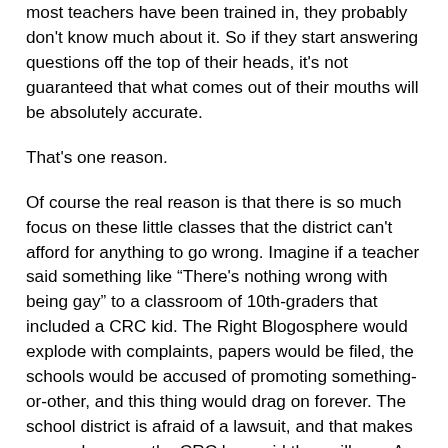most teachers have been trained in, they probably don't know much about it. So if they start answering questions off the top of their heads, it's not guaranteed that what comes out of their mouths will be absolutely accurate.
That's one reason.
Of course the real reason is that there is so much focus on these little classes that the district can't afford for anything to go wrong. Imagine if a teacher said something like "There's nothing wrong with being gay" to a classroom of 10th-graders that included a CRC kid. The Right Blogosphere would explode with complaints, papers would be filed, the schools would be accused of promoting something-or-other, and this thing would drag on forever. The school district is afraid of a lawsuit, and that makes sense, because the CRC has said they will sue. A gang of lawyers has gone over the classroom materials again and again to make sure there's nothing sketchy in them, but MCPS can't take a chance on some teacher saying something that the anti-education groups can use in court.